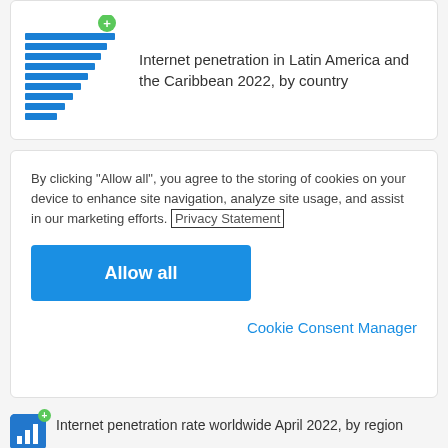[Figure (screenshot): Partial view of a bar chart thumbnail with blue horizontal bars and a green plus icon, representing Internet penetration in Latin America and the Caribbean 2022 by country]
Internet penetration in Latin America and the Caribbean 2022, by country
By clicking “Allow all”, you agree to the storing of cookies on your device to enhance site navigation, analyze site usage, and assist in our marketing efforts. Privacy Statement
Allow all
Cookie Consent Manager
Internet penetration rate worldwide April 2022, by region
Internet penetration in Latin America and the Caribbean 2022, by country
Household internet penetration in Latin America and the Caribbean 2020, by country